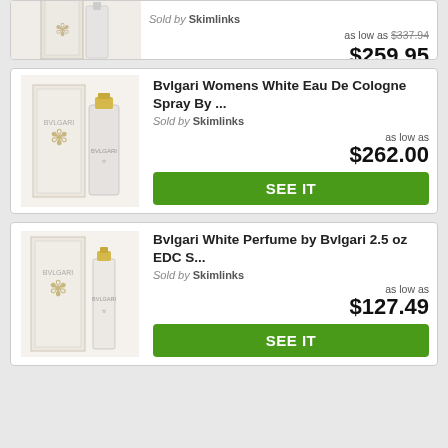[Figure (photo): Partial view of a Bvlgari perfume product with box, top of card cut off]
Sold by Skimlinks
as low as $337.94
$259.95
SEE IT
[Figure (photo): Bvlgari Womens White Eau De Cologne Spray product photo with box and bottle]
Bvlgari Womens White Eau De Cologne Spray By ...
Sold by Skimlinks
as low as $262.00
SEE IT
[Figure (photo): Bvlgari White Perfume product photo with box and bottle]
Bvlgari White Perfume by Bvlgari 2.5 oz EDC S...
Sold by Skimlinks
as low as $127.49